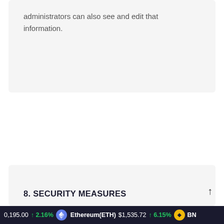administrators can also see and edit that information.
8. SECURITY MEASURES
We use the SSL/HTTPS protocol throughout our site. This encrypts our user communications with the servers so that personal identifiable information is not captured/hijacked by third parties without authorization.
In case of a data breach, system administrators will immediately take all needed steps to ensure system integrity will
0,195.00  ↑ 2.16%   Ethereum(ETH)  $1,535.72  ↑ 6.15%   BN